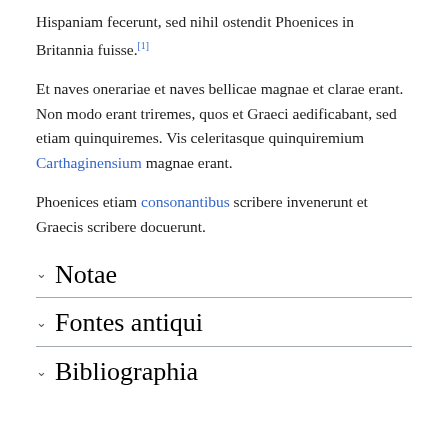Hispaniam fecerunt, sed nihil ostendit Phoenices in Britannia fuisse.[1]
Et naves onerariae et naves bellicae magnae et clarae erant. Non modo erant triremes, quos et Graeci aedificabant, sed etiam quinquiremes. Vis celeritasque quinquiremium Carthaginensium magnae erant.
Phoenices etiam consonantibus scribere invenerunt et Graecis scribere docuerunt.
Notae
Fontes antiqui
Bibliographia